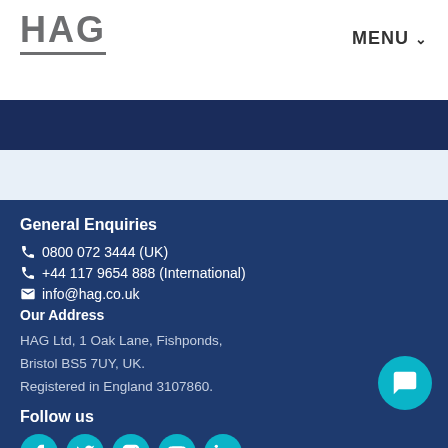HAG | MENU
General Enquiries
0800 072 3444 (UK)
+44 117 9654 888 (International)
info@hag.co.uk
Our Address
HAG Ltd, 1 Oak Lane, Fishponds, Bristol BS5 7UY, UK. Registered in England 3107860.
Follow us
[Figure (other): Social media icons: Facebook, Twitter/X, Instagram, YouTube, LinkedIn arranged in a row of teal circles]